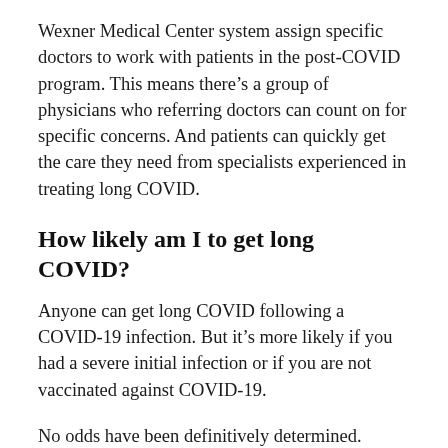Wexner Medical Center system assign specific doctors to work with patients in the post-COVID program. This means there's a group of physicians who referring doctors can count on for specific concerns. And patients can quickly get the care they need from specialists experienced in treating long COVID.
How likely am I to get long COVID?
Anyone can get long COVID following a COVID-19 infection. But it's more likely if you had a severe initial infection or if you are not vaccinated against COVID-19.
No odds have been definitively determined. However, a review of 15 studies released in